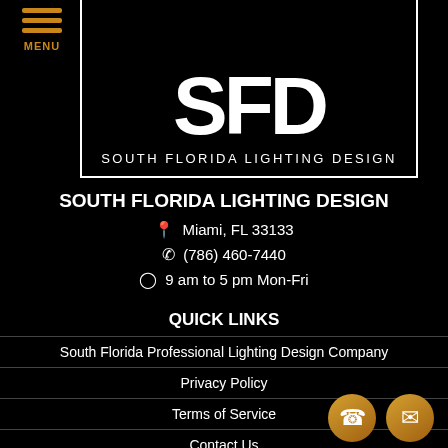[Figure (logo): South Florida Lighting Design logo with large SFD letters and company name below, white on black background with white border]
SOUTH FLORIDA LIGHTING DESIGN
Miami, FL 33133
(786) 460-7440
9 am to 5 pm Mon-Fri
QUICK LINKS
South Florida Professional Lighting Design Company
Privacy Policy
Terms of Service
Contact Us
Locations Served ▾